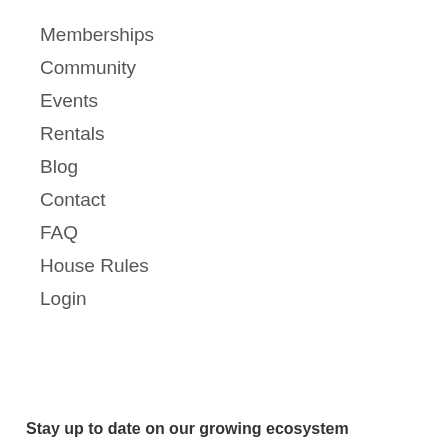Memberships
Community
Events
Rentals
Blog
Contact
FAQ
House Rules
Login
Stay up to date on our growing ecosystem